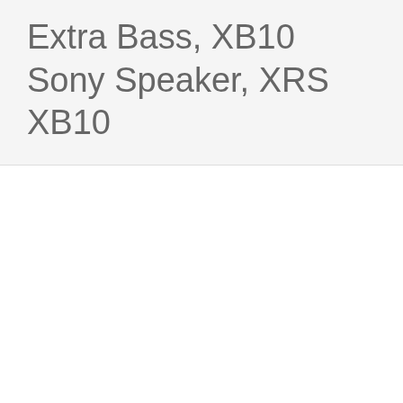Extra Bass, XB10 Sony Speaker, XRS XB10